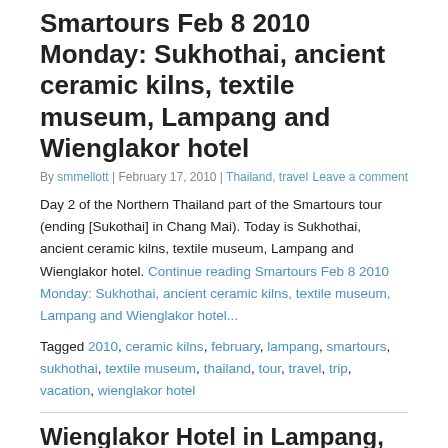Smartours Feb 8 2010 Monday: Sukhothai, ancient ceramic kilns, textile museum, Lampang and Wienglakor hotel
By smmellott | February 17, 2010 | Thailand, travel   Leave a comment
Day 2 of the Northern Thailand part of the Smartours tour (ending [Sukothai] in Chang Mai). Today is Sukhothai, ancient ceramic kilns, textile museum, Lampang and Wienglakor hotel. Continue reading Smartours Feb 8 2010 Monday: Sukhothai, ancient ceramic kilns, textile museum, Lampang and Wienglakor hotel...
Tagged 2010, ceramic kilns, february, lampang, smartours, sukhothai, textile museum, thailand, tour, travel, trip, vacation, wienglakor hotel
Wienglakor Hotel in Lampang, Thailand
By smmellott | February 9, 2010 | Thailand, travel   Leave a comment
Here I sit, in Lampang, Thailand at the Wienglakor hotel. It is supposed to be one of the best in town. It is fine, but a little run-down. Continue reading